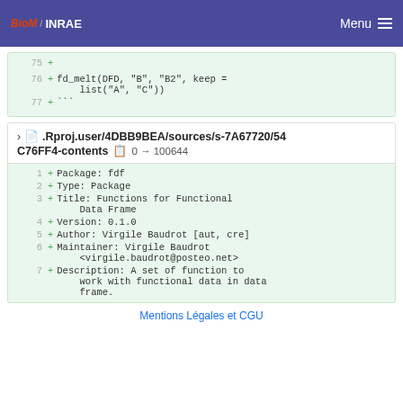BioM INRAE | Menu
75 +
76 + fd_melt(DFD, "B", "B2", keep = list("A", "C"))
77 + ```
.Rproj.user/4DBB9BEA/sources/s-7A67720/54C76FF4-contents  0 → 100644
1 + Package: fdf
2 + Type: Package
3 + Title: Functions for Functional Data Frame
4 + Version: 0.1.0
5 + Author: Virgile Baudrot [aut, cre]
6 + Maintainer: Virgile Baudrot <virgile.baudrot@posteo.net>
7 + Description: A set of function to work with functional data in data frame.
Mentions Légales et CGU